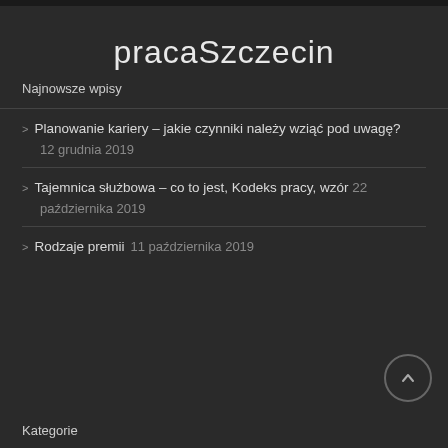pracaSzczecin
Najnowsze wpisy
Planowanie kariery – jakie czynniki należy wziąć pod uwagę? 12 grudnia 2019
Tajemnica służbowa – co to jest, Kodeks pracy, wzór 22 października 2019
Rodzaje premii 11 października 2019
Kategorie